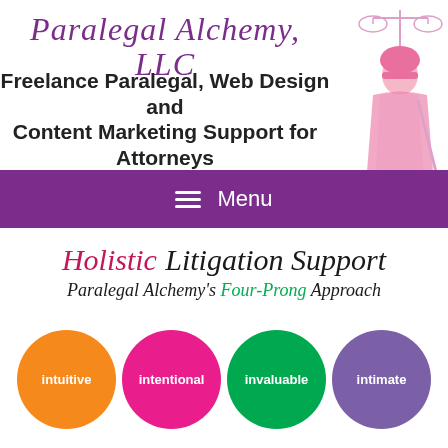Paralegal Alchemy, LLC
Freelance Paralegal, Web Design and Content Marketing Support for Attorneys
[Figure (illustration): Lady Justice illustration in pink tones holding scales, positioned at upper right]
≡ Menu
Holistic Litigation Support
Paralegal Alchemy's Four-Prong Approach
[Figure (infographic): Four colored circles side by side labeled: intuitive (orange), intentional (pink), invaluable (green), intimate (purple)]